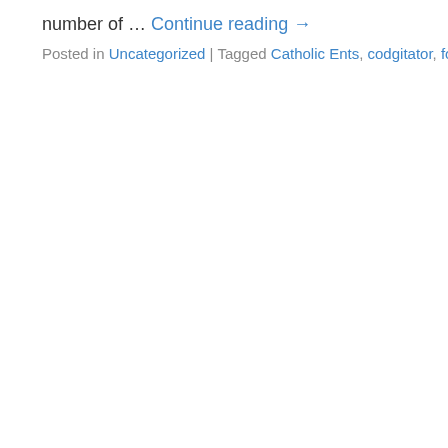number of … Continue reading →
Posted in Uncategorized | Tagged Catholic Ents, codgitator, forecast | 14 Com